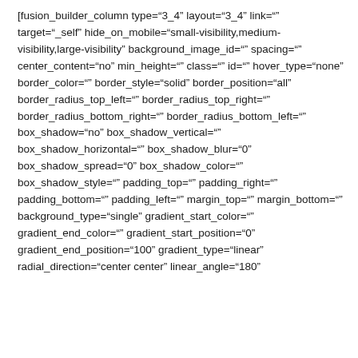[fusion_builder_column type="3_4" layout="3_4" link="" target="_self" hide_on_mobile="small-visibility,medium-visibility,large-visibility" background_image_id="" spacing="" center_content="no" min_height="" class="" id="" hover_type="none" border_color="" border_style="solid" border_position="all" border_radius_top_left="" border_radius_top_right="" border_radius_bottom_right="" border_radius_bottom_left="" box_shadow="no" box_shadow_vertical="" box_shadow_horizontal="" box_shadow_blur="0" box_shadow_spread="0" box_shadow_color="" box_shadow_style="" padding_top="" padding_right="" padding_bottom="" padding_left="" margin_top="" margin_bottom="" background_type="single" gradient_start_color="" gradient_end_color="" gradient_start_position="0" gradient_end_position="100" gradient_type="linear" radial_direction="center center" linear_angle="180"